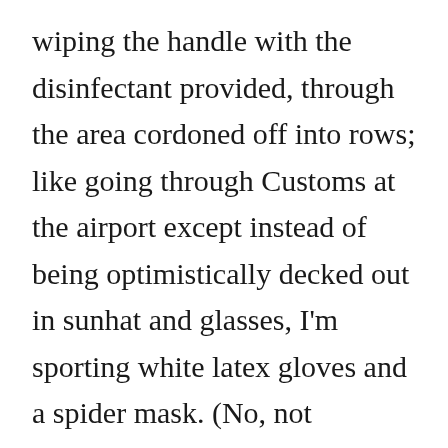wiping the handle with the disinfectant provided, through the area cordoned off into rows; like going through Customs at the airport except instead of being optimistically decked out in sunhat and glasses, I'm sporting white latex gloves and a spider mask. (No, not Spiderman mask, god knows, I felt ridiculous enough as it is, but a reinforced thing Mh... f... DIY)